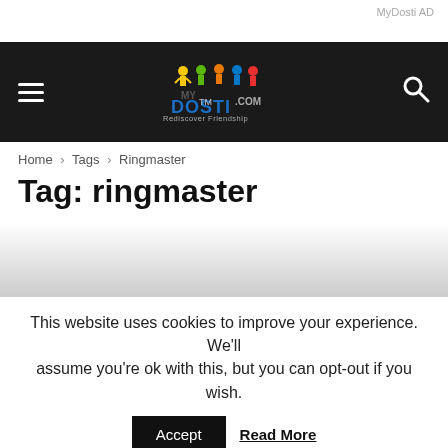MyDosti AD
[Figure (logo): MyDosti.com logo with colorful figures and tagline 'Rediscover Friendship' on dark navigation bar]
Home › Tags › Ringmaster
Tag: ringmaster
This website uses cookies to improve your experience. We'll assume you're ok with this, but you can opt-out if you wish.
Accept   Read More